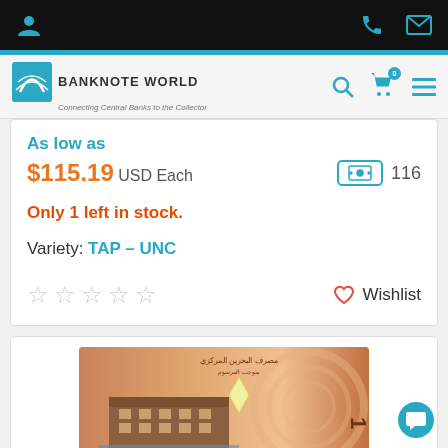Banknote World — Connecting Central Banks to the Collector
As low as
$115.19 USD Each   116
Only 1 left in stock.
Variety: TAP – UNC
★★★★★ (0 stars)  ♡ Wishlist
[Figure (photo): A Bahrain banknote (front face), featuring Arabic text, the number 101, a building illustration, and decorative patterns on an orange/peach background.]